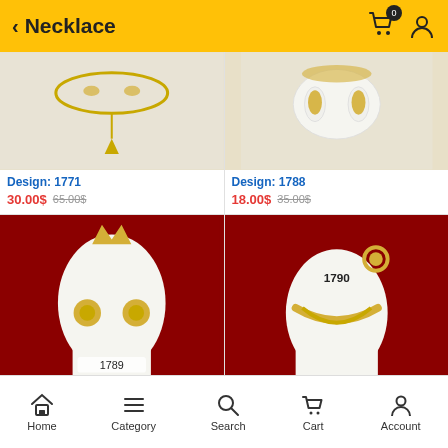Necklace
[Figure (photo): Gold necklace with pendant on white display, partial view]
Design: 1771
30.00$ 65.00$
[Figure (photo): Gold jewelry set on white display stand with red background]
Design: 1788
18.00$ 35.00$
[Figure (photo): Gold flower jewelry set labeled 1789 on white mannequin with red background]
[Figure (photo): Gold necklace set labeled 1790 on white mannequin with red background]
Home  Category  Search  Cart  Account